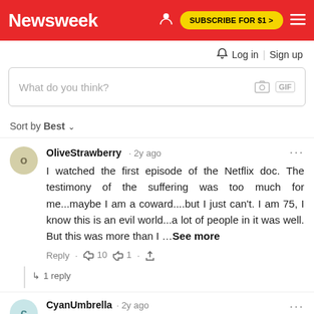Newsweek | SUBSCRIBE FOR $1 >
Log in | Sign up
What do you think?
Sort by Best
OliveStrawberry · 2y ago
I watched the first episode of the Netflix doc. The testimony of the suffering was too much for me...maybe I am a coward....but I just can't. I am 75, I know this is an evil world...a lot of people in it was well. But this was more than I ...See more
Reply · 👍 10 👎 1 · share
↳ 1 reply
CyanUmbrella · 2y ago